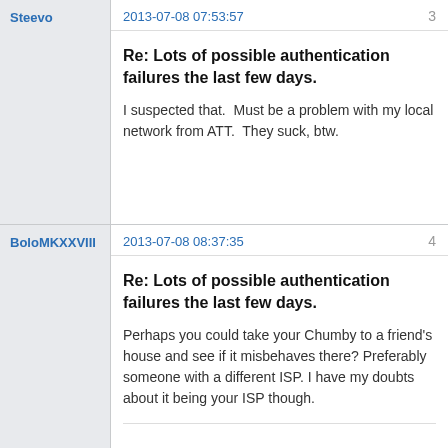Steevo
2013-07-08 07:53:57
3
Re: Lots of possible authentication failures the last few days.
I suspected that.  Must be a problem with my local network from ATT.  They suck, btw.
BoloMKXXVIII
2013-07-08 08:37:35
4
Re: Lots of possible authentication failures the last few days.
Perhaps you could take your Chumby to a friend's house and see if it misbehaves there? Preferably someone with a different ISP. I have my doubts about it being your ISP though.